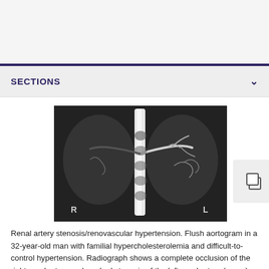SECTIONS
[Figure (photo): Black and white flush aortogram X-ray image showing renal arteries. Bright white contrast in central aorta with branching vessels. Labels R (right) and L (left) visible at bottom corners.]
Renal artery stenosis/renovascular hypertension. Flush aortogram in a 32-year-old man with familial hypercholesterolemia and difficult-to-control hypertension. Radiograph shows a complete occlusion of the right renal artery and marked stenosis of the left renal artery (arrow).
View Media Gallery